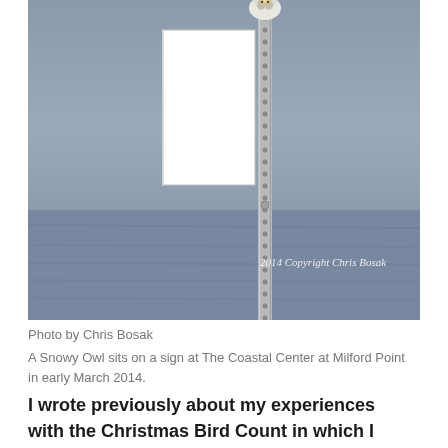[Figure (photo): A Snowy Owl perched on top of a metal sign post at The Coastal Center at Milford Point. The background is grey-blue with blurred water or landscape. A metal pole with holes runs vertically through the center. A rectangular white sign is attached. The photo has a watermark reading '2014 Copyright Chris Bosak' in the lower right.]
Photo by Chris Bosak
A Snowy Owl sits on a sign at The Coastal Center at Milford Point in early March 2014.
I wrote previously about my experiences with the Christmas Bird Count in which I saw three warbler